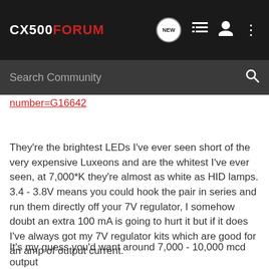CX500FORUM
number=G16642
They're the brightest LEDs I've ever seen short of the very expensive Luxeons and are the whitest I've ever seen, at 7,000*K they're almost as white as HID lamps. 3.4 - 3.8V means you could hook the pair in series and run them directly off your 7V regulator, I somehow doubt an extra 100 mA is going to hurt it but if it does I've always got my 7V regulator kits which are good for an amp of output current.
It's my guess you'd want around 7,000 - 10,000 mcd output